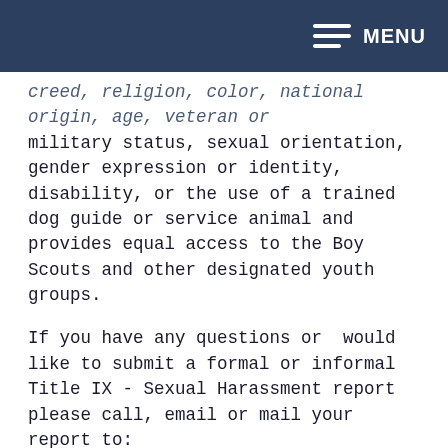MENU
creed, religion, color, national origin, age, veteran or military status, sexual orientation, gender expression or identity, disability, or the use of a trained dog guide or service animal and provides equal access to the Boy Scouts and other designated youth groups.
If you have any questions or  would like to submit a formal or informal Title IX - Sexual Harassment report please call, email or mail your report to:
Debi Christensen, Executive Director for Human Resources, Title IX Coordinator
Orting School District, 121 Whitesell St NE, Orting, WA 98360
Email: christensend@orting.wednet.edu, or by